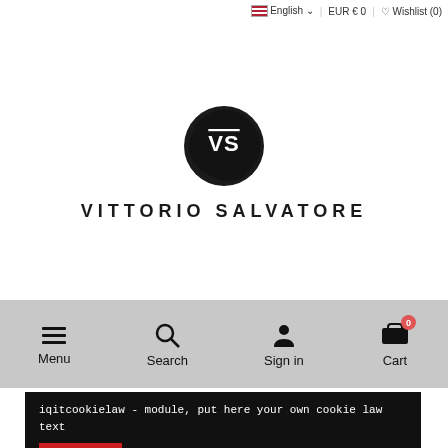English | EUR € 0 | Wishlist (0)
[Figure (logo): Vittorio Salvatore brand logo: dark circular brushstroke mark with 'VS' text inside, and 'VITTORIO SALVATORE' text below in spaced uppercase letters]
Menu | Search | Sign in | Cart 0
iqitcookielaw - module, put here your own cookie law text
Accept